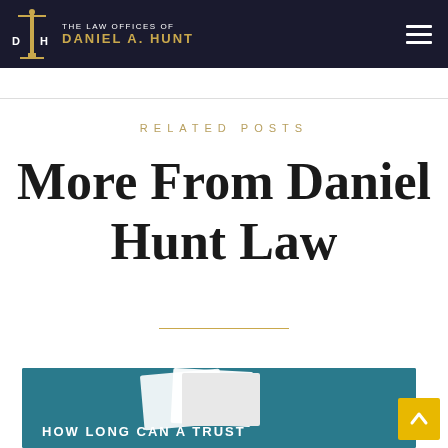The Law Offices of Daniel A. Hunt
RELATED POSTS
More From Daniel Hunt Law
[Figure (screenshot): Bottom card showing a teal background with paper/document graphic and partial text 'HOW LONG CAN A TRUST...']